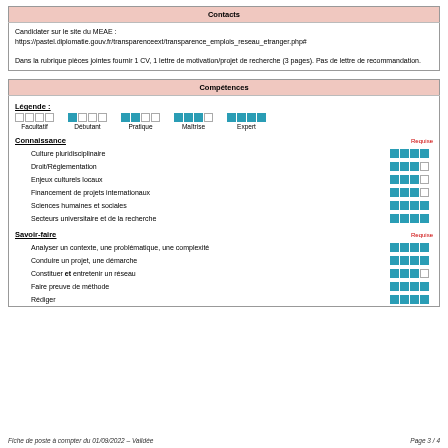| Contacts |
| --- |
| Candidater sur le site du MEAE :
https://pastel.diplomatie.gouv.fr/transparenceext/transparence_emplois_reseau_etranger.php#

Dans la rubrique pièces jointes fournir 1 CV, 1 lettre de motivation/projet de recherche (3 pages). Pas de lettre de recommandation. |
| Compétences |
| --- |
| Légende : |  |  |  |  |
| Facultatif | Débutant | Pratique | Maîtrise | Expert |
| Connaissance |  |  |  | Requise |
| Culture pluridisciplinaire |  |  |  | ■■■■□ |
| Droit/Réglementation |  |  |  | ■■■□□ |
| Enjeux culturels locaux |  |  |  | ■■■□□ |
| Financement de projets internationaux |  |  |  | ■■■□□ |
| Sciences humaines et sociales |  |  |  | ■■■■□ |
| Secteurs universitaire et de la recherche |  |  |  | ■■■■□ |
| Savoir-faire |  |  |  | Requise |
| Analyser un contexte, une problématique, une complexité |  |  |  | ■■■■□ |
| Conduire un projet, une démarche |  |  |  | ■■■■□ |
| Constituer et entretenir un réseau |  |  |  | ■■■□□ |
| Faire preuve de méthode |  |  |  | ■■■■□ |
| Rédiger |  |  |  | ■■■■□ |
Fiche de poste à compter du 01/09/2022 – Validée    Page 3 / 4